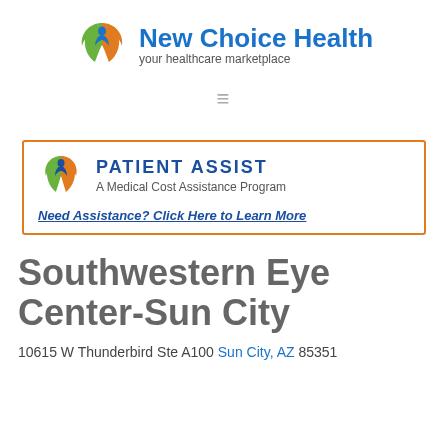[Figure (logo): New Choice Health logo with colorful Y-shaped icon and text 'New Choice Health - your healthcare marketplace']
[Figure (infographic): Patient Assist - A Medical Cost Assistance Program banner with orange border, PA logo, and link 'Need Assistance? Click Here to Learn More']
Southwestern Eye Center-Sun City
10615 W Thunderbird Ste A100 Sun City, AZ 85351